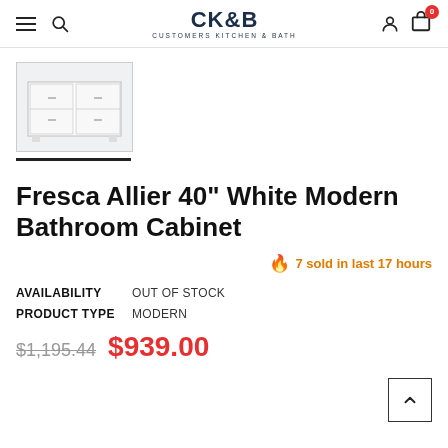CK&B Customers Kitchen & Bath navigation bar
[Figure (photo): Thumbnail image of white bathroom cabinet (Fresca Allier 40 inch) with black underline indicator below]
Fresca Allier 40" White Modern Bathroom Cabinet
🔥 7 sold in last 17 hours
| Field | Value |
| --- | --- |
| AVAILABILITY | OUT OF STOCK |
| PRODUCT TYPE | MODERN |
$1,195.44  $939.00